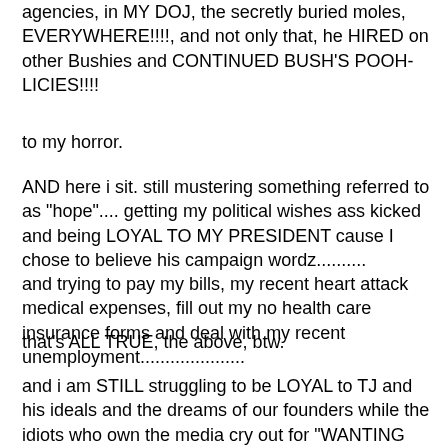agencies, in MY DOJ, the secretly buried moles, EVERYWHERE!!!!, and not only that, he HIRED on other Bushies and CONTINUED BUSH'S POOH-LICIES!!!!
to my horror.
AND here i sit. still mustering something referred to as "hope".... getting my political wishes ass kicked and being LOYAL TO MY PRESIDENT cause I chose to believe his campaign wordz.......... and trying to pay my bills, my recent heart attack medical expenses, fill out my no health care insurance forms and deal with my recent unemployment.....................
that's ALL TRUE, the above, btw.
and i am STILL struggling to be LOYAL to TJ and his ideals and the dreams of our founders while the idiots who own the media cry out for "WANTING THEIR COUNTRY BACK...!" and threaten the very life of our elected president with NO CONSEQUENCES, WHILE Bu$hCo limited FREE SPEECH, GOT THE BIG OK TO SPY ON US AND LIED US INTO A WAR!!!!!!!!